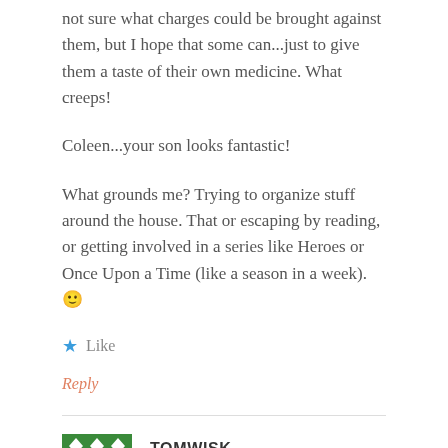not sure what charges could be brought against them, but I hope that some can...just to give them a taste of their own medicine. What creeps!
Coleen...your son looks fantastic!
What grounds me? Trying to organize stuff around the house. That or escaping by reading, or getting involved in a series like Heroes or Once Upon a Time (like a season in a week). 🙂
★ Like
Reply
TOMWISK
APRIL 22, 2013 AT 2:16 PM